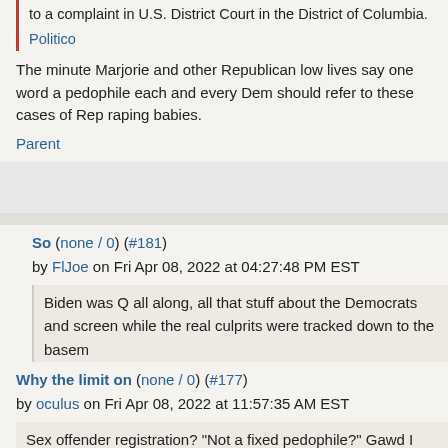to a complaint in U.S. District Court in the District of Columbia.
Politico
The minute Marjorie and other Republican low lives say one word a pedophile each and every Dem should refer to these cases of Rep raping babies.
Parent
So (none / 0) (#181) by FlJoe on Fri Apr 08, 2022 at 04:27:48 PM EST
Biden was Q all along, all that stuff about the Democrats and screen while the real culprits were tracked down to the basem
That's my story an I am sticking to it, probably less crazy the
I do think that someone should start gathering up mug shots a
Parent
Why the limit on (none / 0) (#177) by oculus on Fri Apr 08, 2022 at 11:57:35 AM EST
Sex offender registration?  "Not a fixed pedophile?"  Gawd I hate t
Parent